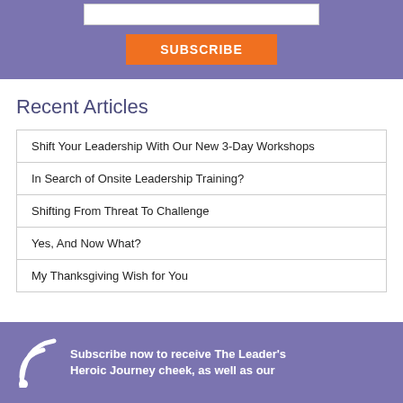[Figure (other): Purple banner with a white input box and an orange SUBSCRIBE button]
Recent Articles
| Shift Your Leadership With Our New 3-Day Workshops |
| In Search of Onsite Leadership Training? |
| Shifting From Threat To Challenge |
| Yes, And Now What? |
| My Thanksgiving Wish for You |
Subscribe now to receive The Leader's Heroic Journey cheek, as well as our